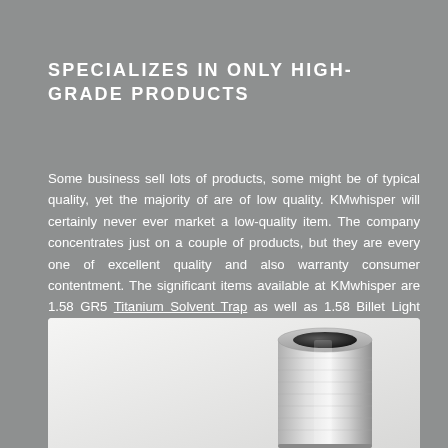SPECIALIZES IN ONLY HIGH-GRADE PRODUCTS
Some business sell lots of products, some might be of typical quality, yet the majority of are of low quality. KMwhisper will certainly never ever market a low-quality item. The company concentrates just on a couple of products, but they are every one of excellent quality and also warranty consumer contentment. The significant items available at KMwhisper are 1.58 GR5 Titanium Solvent Trap as well as 1.58 Billet Light Weight Aluminum Modular Solvent Traps. Both are solid, lightweight, long lasting, as well as budget-friendly. They are excellent for cleansing all kinds of guns.
[Figure (photo): A silver metallic cylindrical solvent trap component, shown on a light grey/white background at the bottom of the page.]